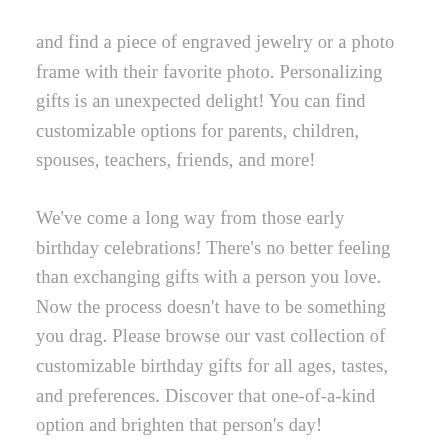and find a piece of engraved jewelry or a photo frame with their favorite photo. Personalizing gifts is an unexpected delight! You can find customizable options for parents, children, spouses, teachers, friends, and more!
We've come a long way from those early birthday celebrations! There's no better feeling than exchanging gifts with a person you love. Now the process doesn't have to be something you drag. Please browse our vast collection of customizable birthday gifts for all ages, tastes, and preferences. Discover that one-of-a-kind option and brighten that person's day!